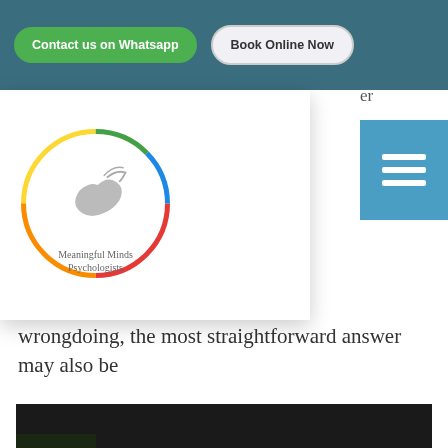[Figure (screenshot): Navigation bar with green 'Contact us on Whatsapp' button and white 'Book Online Now' button on teal background]
[Figure (logo): Meaningful Minds Psychologists logo - circular rainbow border with silhouette of reading figure]
[Figure (other): Blue hamburger/menu icon box]
wrongdoing, the most straightforward answer may also be
[Figure (photo): Silhouette of a person sitting on a bench with head down, dark moody lighting with light behind]
the hardest to enact – admit to your actions, seek forgiveness, and find an